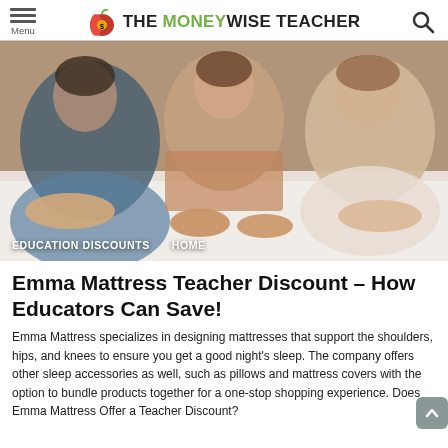THE MONEYWISE TEACHER
[Figure (photo): Family (two adults and a child) lying on a white mattress, pressing their hands into the mattress surface, smiling.]
EDUCATION DISCOUNTS   HOME
Emma Mattress Teacher Discount – How Educators Can Save!
Emma Mattress specializes in designing mattresses that support the shoulders, hips, and knees to ensure you get a good night's sleep. The company offers other sleep accessories as well, such as pillows and mattress covers with the option to bundle products together for a one-stop shopping experience. Does Emma Mattress Offer a Teacher Discount?